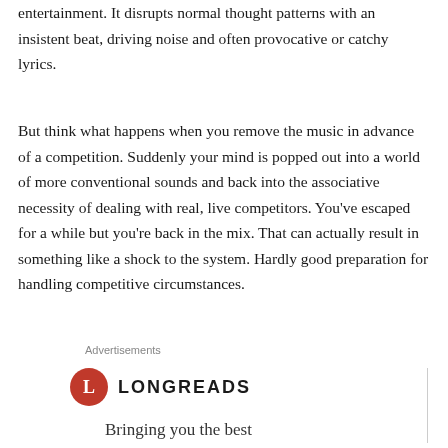entertainment. It disrupts normal thought patterns with an insistent beat, driving noise and often provocative or catchy lyrics.
But think what happens when you remove the music in advance of a competition. Suddenly your mind is popped out into a world of more conventional sounds and back into the associative necessity of dealing with real, live competitors. You've escaped for a while but you're back in the mix. That can actually result in something like a shock to the system. Hardly good preparation for handling competitive circumstances.
Advertisements
[Figure (logo): Longreads logo: red circle with white L, followed by LONGREADS text in bold uppercase]
Bringing you the best